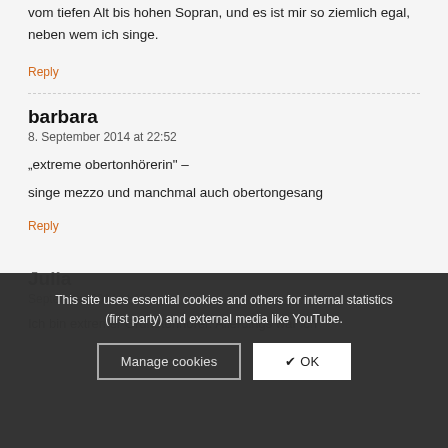vom tiefen Alt bis hohen Sopran, und es ist mir so ziemlich egal, neben wem ich singe.
Reply
barbara
8. September 2014 at 22:52
"extreme obertonhörerin" –
singe mezzo und manchmal auch obertongesang
Reply
This site uses essential cookies and others for internal statistics (first party) and external media like YouTube.
Manage cookies
✔ OK
Julia
September 2014 at 19:...
Ich bin extremer Grundtonhörer. Allerdings war ich